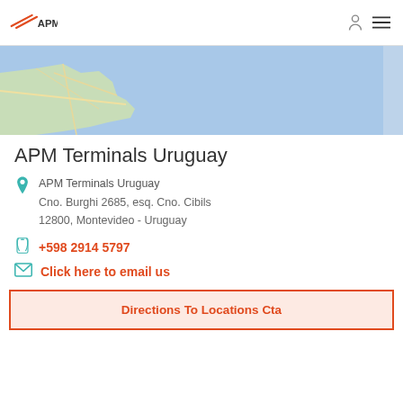APM TERMINALS
[Figure (map): Partial map view showing coastal area of Montevideo, Uruguay with street overlay and blue water]
APM Terminals Uruguay
APM Terminals Uruguay
Cno. Burghi 2685, esq. Cno. Cibils
12800, Montevideo - Uruguay
+598 2914 5797
Click here to email us
Directions To Locations Cta